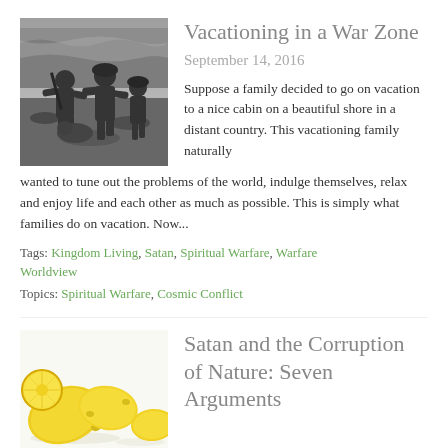[Figure (photo): Black and white photograph of soldiers on a beach shore, crouching near the water's edge with ocean waves in background]
Vacationing in a War Zone
September 14, 2016
Suppose a family decided to go on vacation to a nice cabin on a beautiful shore in a distant country. This vacationing family naturally wanted to tune out the problems of the world, indulge themselves, relax and enjoy life and each other as much as possible. This is simply what families do on vacation. Now...
Tags: Kingdom Living, Satan, Spiritual Warfare, Warfare Worldview
Topics: Spiritual Warfare, Cosmic Conflict
[Figure (photo): Photo of lemons on a white background]
Satan and the Corruption of Nature: Seven Arguments